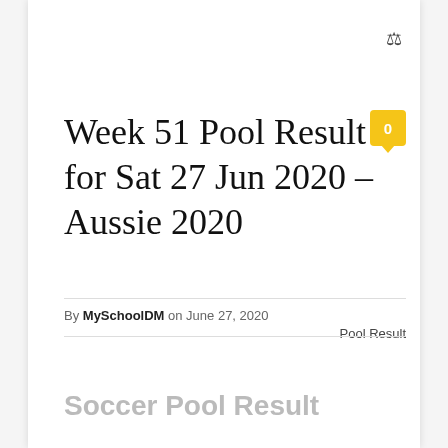[Figure (illustration): Trophy/scales icon in top right corner of page]
Week 51 Pool Result for Sat 27 Jun 2020 – Aussie 2020
By MySchoolDM on June 27, 2020
Pool Result
Soccer Pool Result